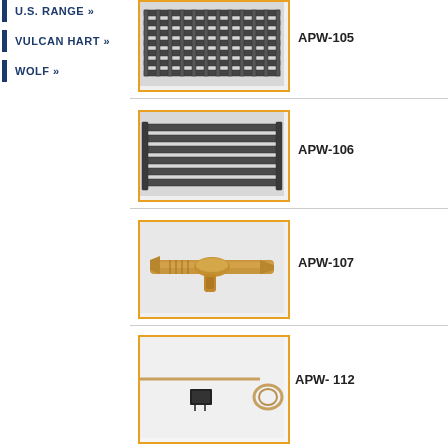U.S. RANGE »
VULCAN HART »
WOLF »
[Figure (photo): Metal grate/grid product photo with small square holes pattern, item APW-105]
APW-105
[Figure (photo): Metal bar grate product photo with parallel horizontal bars, item APW-106]
APW-106
[Figure (photo): Brass valve or fitting product photo, T-shaped brass connector, item APW-107]
APW-107
[Figure (photo): Thermostat or capillary tube component photo with small black component and coiled copper tube, item APW-112]
APW- 112